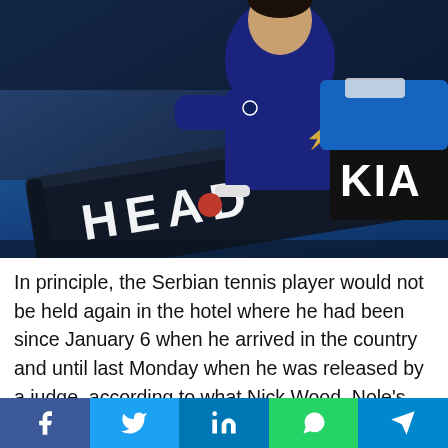[Figure (photo): Novak Djokovic sitting courtside with a HEAD tennis bag, wearing a dark navy shirt, with a Kia sponsor board visible in the background at what appears to be the Australian Open.]
In principle, the Serbian tennis player would not be held again in the hotel where he had been since January 6 when he arrived in the country and until last Monday when he was released by a judge, according to what Nick Wood, Nole's lawyer, advanced: "I have been informed by an Australian
[Figure (infographic): Social media sharing bar with Facebook, Twitter, LinkedIn, WhatsApp, and Telegram buttons]